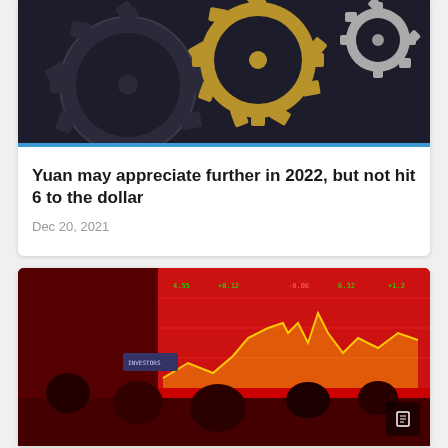[Figure (photo): Dark background with gold and black metallic interlocking gears/cogs]
Yuan may appreciate further in 2022, but not hit 6 to the dollar
Dec 20, 2021
[Figure (photo): Chinese stock market trading floor showing red electronic boards with stock data charts and people viewing the boards]